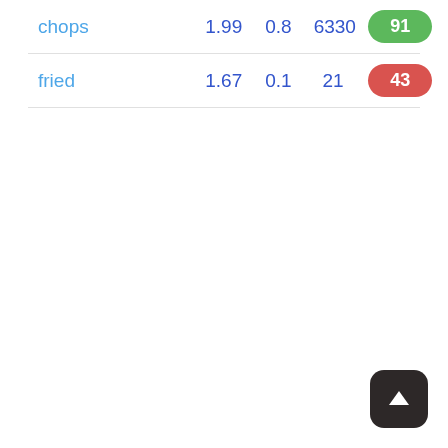| chops | 1.99 | 0.8 | 6330 | 91 |
| fried | 1.67 | 0.1 | 21 | 43 |
[Figure (other): Scroll-to-top button: dark rounded square with white upward arrow]